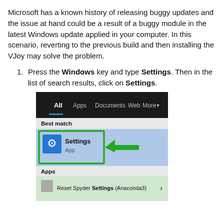Microsoft has a known history of releasing buggy updates and the issue at hand could be a result of a buggy module in the latest Windows update applied in your computer. In this scenario, reverting to the previous build and then installing the VJoy may solve the problem.
Press the Windows key and type Settings. Then in the list of search results, click on Settings.
[Figure (screenshot): Windows search results showing Settings app highlighted with a green border and a green arrow pointing to it. The search bar tabs show All (selected, underlined blue), Apps, Documents, Web, More. Below is 'Best match' section with Settings App icon highlighted. Below that is Apps section showing Reset Spyder Settings (Anaconda3).]